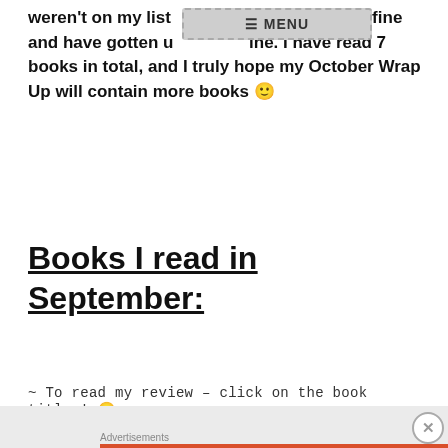weren't on my list [MENU] at I am now fine and have gotten u[p] [and I'm doing] ine. I have read 7 books in total, and I truly hope my October Wrap Up will contain more books 🙂
Books I read in September:
~ To read my review – click on the book titles! 🙂
Advertisements
Advertisements
[Figure (screenshot): DuckDuckGo advertisement banner with orange background showing 'Search, browse, and email with more privacy. All in One Free App' with phone image and DuckDuckGo logo]